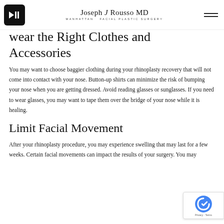Joseph J Rousso MD — Manhattan Facial Plastic Surgery
Wear the Right Clothes and Accessories
You may want to choose baggier clothing during your rhinoplasty recovery that will not come into contact with your nose. Button-up shirts can minimize the risk of bumping your nose when you are getting dressed. Avoid reading glasses or sunglasses. If you need to wear glasses, you may want to tape them over the bridge of your nose while it is healing.
Limit Facial Movement
After your rhinoplasty procedure, you may experience swelling that may last for a few weeks. Certain facial movements can impact the results of your surgery. You may